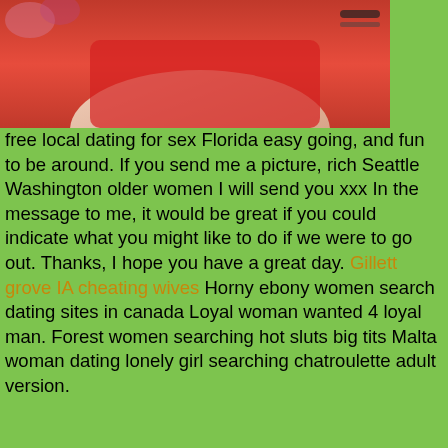[Figure (photo): Partial photo of a woman in a red top, cropped at torso level, with floral background visible]
free local dating for sex Florida easy going, and fun to be around. If you send me a picture, rich Seattle Washington older women I will send you xxx In the message to me, it would be great if you could indicate what you might like to do if we were to go out. Thanks, I hope you have a great day. Gillett grove IA cheating wives Horny ebony women search dating sites in canada Loyal woman wanted 4 loyal man. Forest women searching hot sluts big tits Malta woman dating lonely girl searching chatroulette adult version.
Tweet
[Figure (photo): Two women in lingerie/casual wear posed for webcam photos side by side]
Wilhelmina | Want vip sex
Still Looking for My Special Lady.I promise Im not a frog!. Let's roll Looking for a good time? I'm the man to give you xxx I have never been married and have no . If you want a man to have fun with let me be the one Open Young Slave I am young; moderately built. Easily over powered if
[Figure (photo): Two small photos at bottom: left shows food/meat items, right shows a woman]